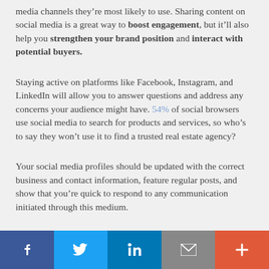media channels they're most likely to use. Sharing content on social media is a great way to boost engagement, but it'll also help you strengthen your brand position and interact with potential buyers.
Staying active on platforms like Facebook, Instagram, and LinkedIn will allow you to answer questions and address any concerns your audience might have. 54% of social browsers use social media to search for products and services, so who's to say they won't use it to find a trusted real estate agency?
Your social media profiles should be updated with the correct business and contact information, feature regular posts, and show that you're quick to respond to any communication initiated through this medium.
[Figure (infographic): Social sharing bar with Facebook, Twitter, LinkedIn, email, and plus buttons]